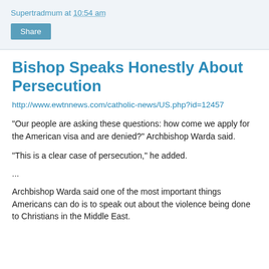Supertradmum at 10:54 am
Bishop Speaks Honestly About Persecution
http://www.ewtnnews.com/catholic-news/US.php?id=12457
“Our people are asking these questions: how come we apply for the American visa and are denied?” Archbishop Warda said.
“This is a clear case of persecution,” he added.
...
Archbishop Warda said one of the most important things Americans can do is to speak out about the violence being done to Christians in the Middle East.